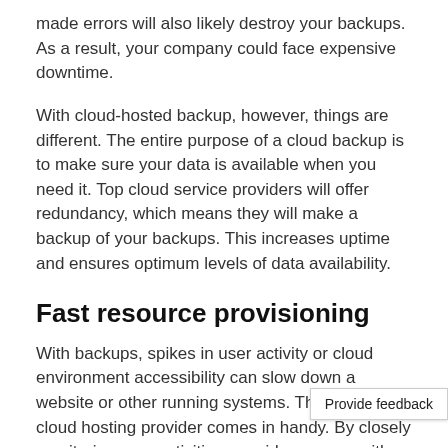made errors will also likely destroy your backups. As a result, your company could face expensive downtime.
With cloud-hosted backup, however, things are different. The entire purpose of a cloud backup is to make sure your data is available when you need it. Top cloud service providers will offer redundancy, which means they will make a backup of your backups. This increases uptime and ensures optimum levels of data availability.
Fast resource provisioning
With backups, spikes in user activity or cloud environment accessibility can slow down a website or other running systems. This is where a cloud hosting provider comes in handy. By closely monitoring user activities, providers can se either before or as they are happening. Th